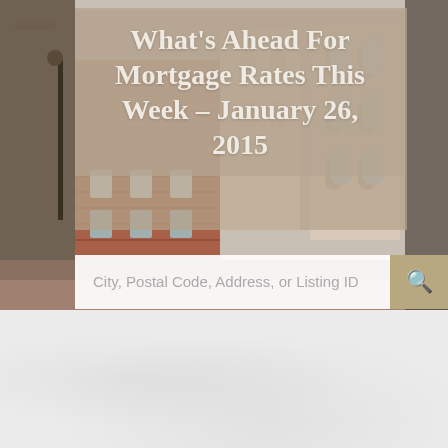[Figure (photo): Street scene with brick townhouses and buildings, with semi-transparent tan/beige overlay panel containing the article title]
What's Ahead For Mortgage Rates This Week – January 26, 2015
City, Postal Code, Address, or Listing ID
< Previous   Next >
What's Ahead For Mortgage Rates This Week –